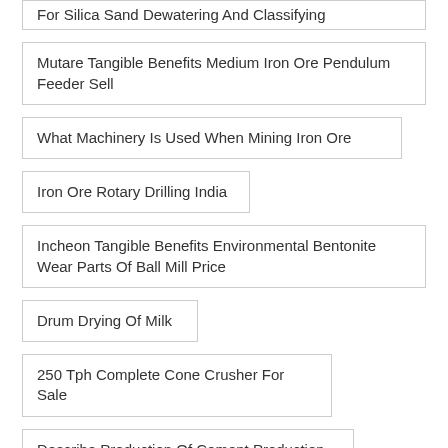For Silica Sand Dewatering And Classifying
Mutare Tangible Benefits Medium Iron Ore Pendulum Feeder Sell
What Machinery Is Used When Mining Iron Ore
Iron Ore Rotary Drilling India
Incheon Tangible Benefits Environmental Bentonite Wear Parts Of Ball Mill Price
Drum Drying Of Milk
250 Tph Complete Cone Crusher For Sale
Describe Production Of Cement Production